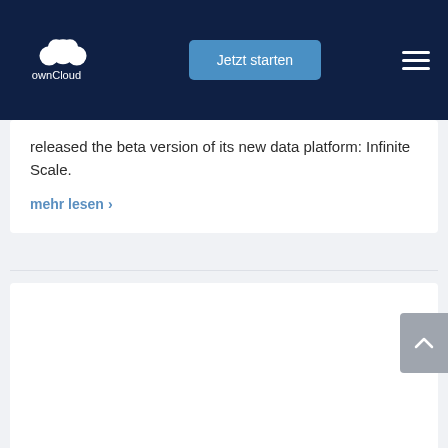ownCloud | Jetzt starten
released the beta version of its new data platform: Infinite Scale.
mehr lesen >
[Figure (other): Empty white card section below the mehr lesen link, with a back-to-top button on the right side]